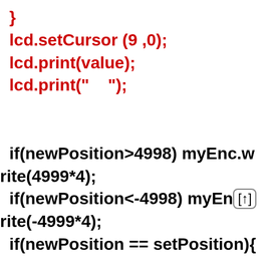}
lcd.setCursor (9 ,0);
lcd.print(value);
lcd.print("     ");


  if(newPosition>4998) myEnc.write(4999*4);
  if(newPosition<-4998) myEnc.write(-4999*4);
  if(newPosition == setPosition){